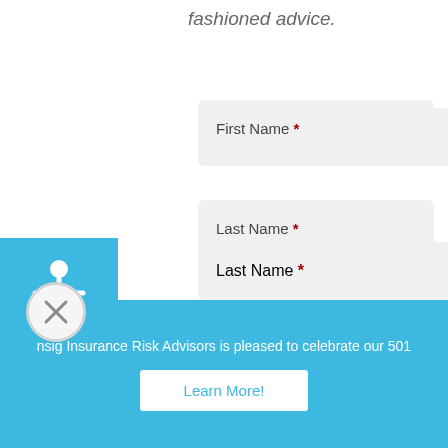fashioned advice.
First Name *
Last Name *
Your Email *
Your Phone Number *
What type of insurance would you
nsig Insurance Risk Advisors is pleased to celebrate our 501
Learn More!